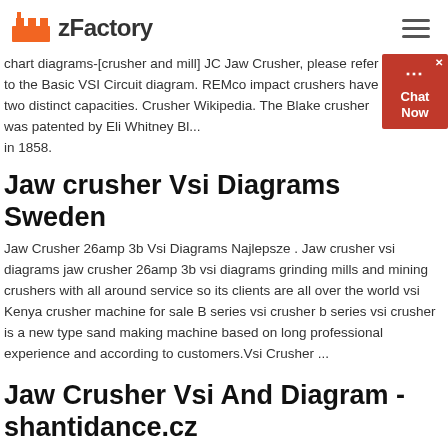zFactory
chart diagrams-[crusher and mill] JC Jaw Crusher, please refer to the Basic VSI Circuit diagram. REMco impact crushers have two distinct capacities. Crusher Wikipedia. The Blake crusher was patented by Eli Whitney Bl... in 1858.
Jaw crusher Vsi Diagrams Sweden
Jaw Crusher 26amp 3b Vsi Diagrams Najlepsze . Jaw crusher vsi diagrams jaw crusher 26amp 3b vsi diagrams grinding mills and mining crushers with all around service so its clients are all over the world vsi Kenya crusher machine for sale B series vsi crusher b series vsi crusher is a new type sand making machine based on long professional experience and according to customers.Vsi Crusher ...
Jaw Crusher Vsi And Diagram - shantidance.cz
Please Zh...Cz. read list and contact us about 1ZM ids...